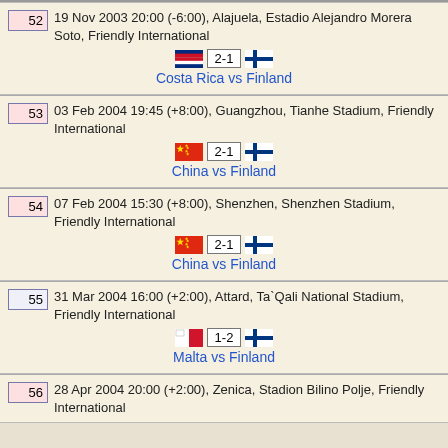| 52 | 19 Nov 2003 20:00 (-6:00), Alajuela, Estadio Alejandro Morera Soto, Friendly International | Costa Rica vs Finland | 2-1 |
| 53 | 03 Feb 2004 19:45 (+8:00), Guangzhou, Tianhe Stadium, Friendly International | China vs Finland | 2-1 |
| 54 | 07 Feb 2004 15:30 (+8:00), Shenzhen, Shenzhen Stadium, Friendly International | China vs Finland | 2-1 |
| 55 | 31 Mar 2004 16:00 (+2:00), Attard, Ta`Qali National Stadium, Friendly International | Malta vs Finland | 1-2 |
| 56 | 28 Apr 2004 20:00 (+2:00), Zenica, Stadion Bilino Polje, Friendly International |  |  |